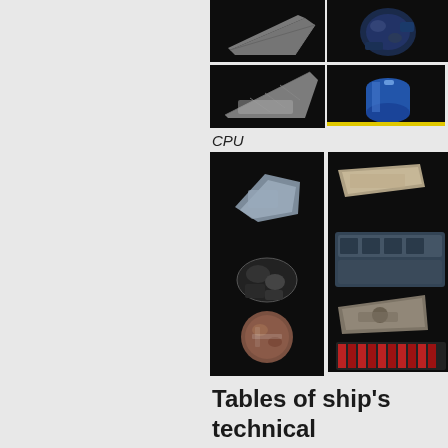[Figure (illustration): Grid of sci-fi spaceship component items at top: two rows of two items each, showing thruster, engine, solar panel/wing, and fuel cell components on dark background]
CPU
[Figure (illustration): Grid of CPU spaceship components: left column has 5 items (small CPU module, dark mechanical piece, sphere/orb, glowing disc/button, small module), right column has 4 items (elongated module, rectangular rack, triangular component, red grid/panel), all on dark background]
Tables of ship's technical